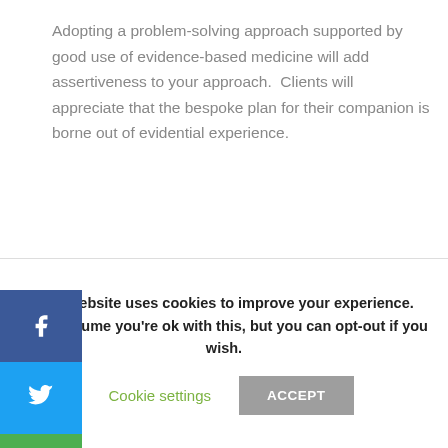Adopting a problem-solving approach supported by good use of evidence-based medicine will add assertiveness to your approach.  Clients will appreciate that the bespoke plan for their companion is borne out of evidential experience.
[Figure (other): Social media sharing sidebar with Facebook, Twitter, Email, and Print buttons]
certain situations, don't be afraid to pause before answering. e time spent taking a temperature or auscultating with a thoscope can allow for a more detailed and considered ponse.
This website uses cookies to improve your experience. We'll assume you're ok with this, but you can opt-out if you wish.